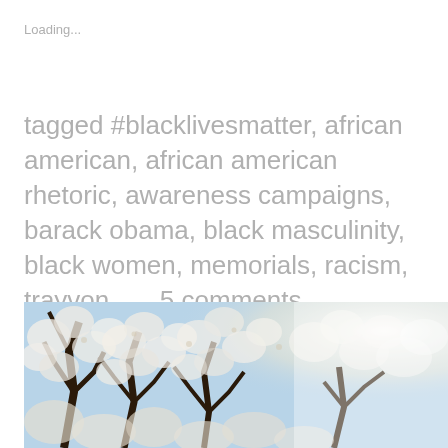Loading...
tagged #blacklivesmatter, african american, african american rhetoric, awareness campaigns, barack obama, black masculinity, black women, memorials, racism, trayvon      5 comments
[Figure (photo): Photograph of cherry blossom trees with white blooms against a blue sky, with bright sunlight on the right side of the image.]